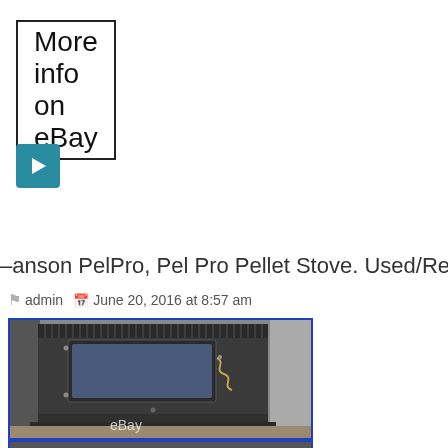More info on eBay
[Figure (other): Teal/blue play button icon]
anson PelPro, Pel Pro Pellet Stove. Used/Refurbished
admin   June 20, 2016 at 8:57 am
[Figure (photo): Photo of a black pellet stove (PelPro brand) with a glass door and coil handle, sitting on a base, with eBay watermark]
[Figure (photo): Partially visible second photo at bottom of page]